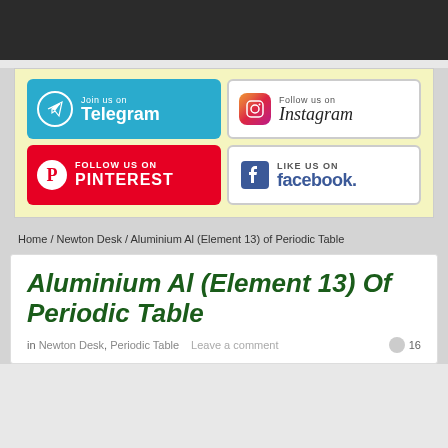[Figure (screenshot): Dark header bar at top of webpage]
[Figure (infographic): Social media buttons banner with yellow background: Telegram (teal), Instagram (gradient icon), Pinterest (red), Facebook (blue/white)]
Home / Newton Desk / Aluminium Al (Element 13) of Periodic Table
Aluminium Al (Element 13) Of Periodic Table
in Newton Desk, Periodic Table   Leave a comment   16